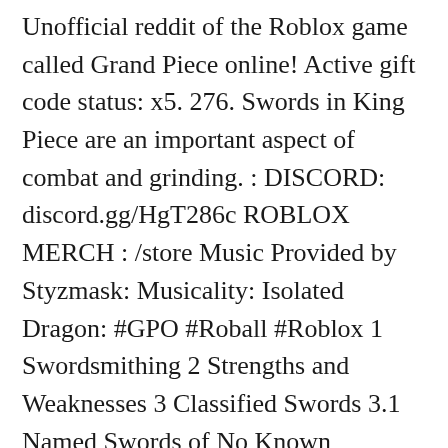Unofficial reddit of the Roblox game called Grand Piece online! Active gift code status: x5. 276. Swords in King Piece are an important aspect of combat and grinding. : DISCORD: discord.gg/HgT286c ROBLOX MERCH : /store Music Provided by Styzmask: Musicality: Isolated Dragon: #GPO #Roball #Roblox 1 Swordsmithing 2 Strengths and Weaknesses 3 Classified Swords 3.1 Named Swords of No Known Classification 4 Types of Swords 4.1 Katana 4.1.1 Kogatana 4.2 Wakizashi 4.3 Tanto 4.4 Nodachi 4.5 Dadao 4.6 Jian 4.7 Cutlass 4.8 Saber 4.9 Kukri 4.10 Shikomizue 4.11 Shirasaya 4.12 ... Required fields are marked * Comment. Private Server Devil fruit notifier Coffin Boat Striker Emote Pack 1 Emote Pack 2 Emote Pack